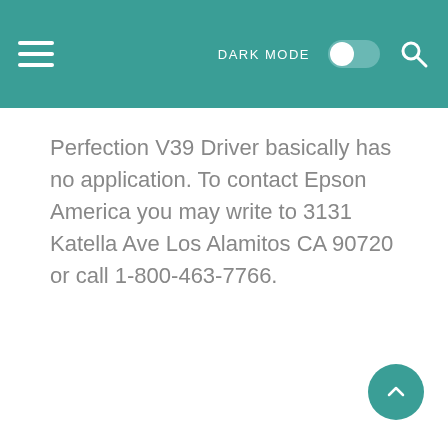DARK MODE
Perfection V39 Driver basically has no application. To contact Epson America you may write to 3131 Katella Ave Los Alamitos CA 90720 or call 1-800-463-7766.